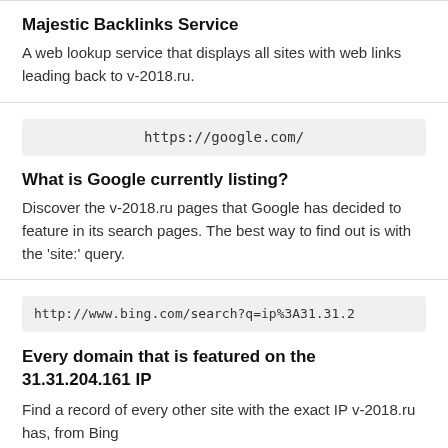Majestic Backlinks Service
A web lookup service that displays all sites with web links leading back to v-2018.ru.
https://google.com/
What is Google currently listing?
Discover the v-2018.ru pages that Google has decided to feature in its search pages. The best way to find out is with the 'site:' query.
http://www.bing.com/search?q=ip%3A31.31.2
Every domain that is featured on the 31.31.204.161 IP
Find a record of every other site with the exact IP v-2018.ru has, from Bing